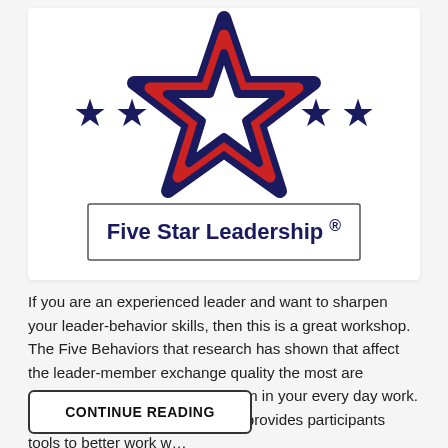[Figure (logo): Five Star Leadership logo: a large star made of red and navy blue ribbon stripes, flanked by two smaller solid navy stars on each side, with a bordered text box below reading 'Five Star Leadership ®']
If you are an experienced leader and want to sharpen your leader-behavior skills, then this is a great workshop. The Five Behaviors that research has shown that affect the leader-member exchange quality the most are practiced so you can include them in your every day work. This is a one day workshop that provides participants tools to better work w...
CONTINUE READING